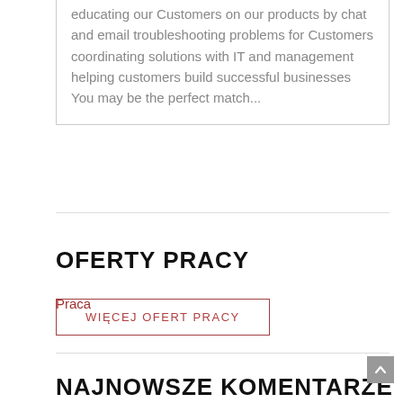educating our Customers on our products by chat and email troubleshooting problems for Customers coordinating solutions with IT and management helping customers build successful businesses You may be the perfect match...
WIĘCEJ OFERT PRACY
OFERTY PRACY
Praca
NAJNOWSZE KOMENTARZE